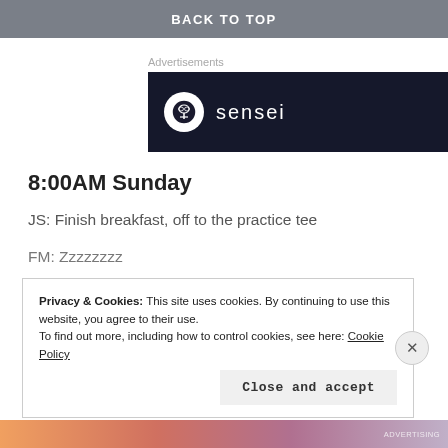BACK TO TOP
Advertisements
[Figure (logo): Sensei brand advertisement banner — dark navy background with white circular logo containing a tree/bonsai icon and the word 'sensei' in white lowercase letters]
8:00AM Sunday
JS: Finish breakfast, off to the practice tee
FM: Zzzzzzzz
Privacy & Cookies: This site uses cookies. By continuing to use this website, you agree to their use.
To find out more, including how to control cookies, see here: Cookie Policy
Close and accept